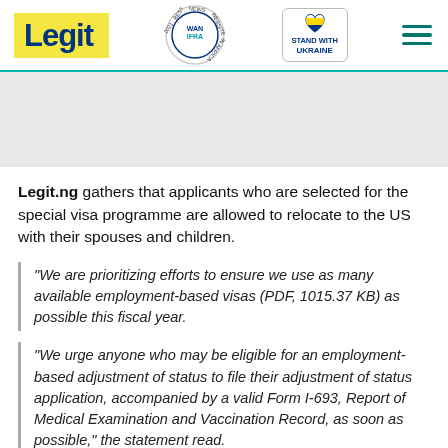Legit | WAN IFRA 2021 Best News Website in Africa | Stand with Ukraine
[Figure (other): Grey advertisement banner placeholder area]
Legit.ng gathers that applicants who are selected for the special visa programme are allowed to relocate to the US with their spouses and children.
"We are prioritizing efforts to ensure we use as many available employment-based visas (PDF, 1015.37 KB) as possible this fiscal year.
"We urge anyone who may be eligible for an employment-based adjustment of status to file their adjustment of status application, accompanied by a valid Form I-693, Report of Medical Examination and Vaccination Record, as soon as possible," the statement read.